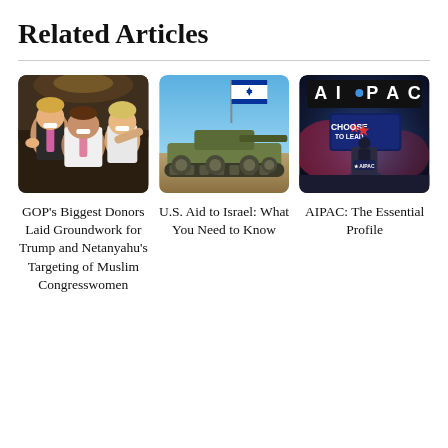Related Articles
[Figure (photo): Group selfie photo showing Donald Trump with two other people, smiling, in an indoor setting.]
[Figure (photo): Military tank with an Israeli flag flying above it outdoors in a desert landscape.]
[Figure (photo): AIPAC conference stage with 'CHOOSE TO LEAD' signage and a speaker at a podium.]
GOP's Biggest Donors Laid Groundwork for Trump and Netanyahu's Targeting of Muslim Congresswomen
U.S. Aid to Israel: What You Need to Know
AIPAC: The Essential Profile